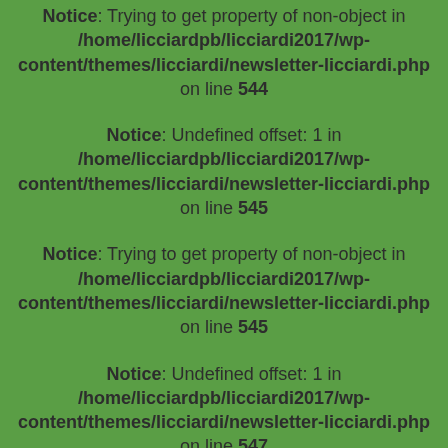Notice: Trying to get property of non-object in /home/licciardpb/licciardi2017/wp-content/themes/licciardi/newsletter-licciardi.php on line 544
Notice: Undefined offset: 1 in /home/licciardpb/licciardi2017/wp-content/themes/licciardi/newsletter-licciardi.php on line 545
Notice: Trying to get property of non-object in /home/licciardpb/licciardi2017/wp-content/themes/licciardi/newsletter-licciardi.php on line 545
Notice: Undefined offset: 1 in /home/licciardpb/licciardi2017/wp-content/themes/licciardi/newsletter-licciardi.php on line 547
Notice: Trying to get property of non-object in /home/licciardpb/licciardi2017/wp-content/themes/licciardi/newsletter-licciardi.php on line